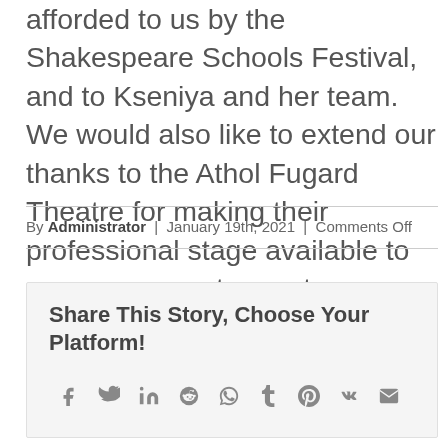afforded to us by the Shakespeare Schools Festival, and to Kseniya and her team. We would also like to extend our thanks to the Athol Fugard Theatre for making their professional stage available to our young amateur actors.
By Administrator | January 19th, 2021 | Comments Off
Share This Story, Choose Your Platform!
f  y  in  reddit  whatsapp  t  pinterest  vk  mail